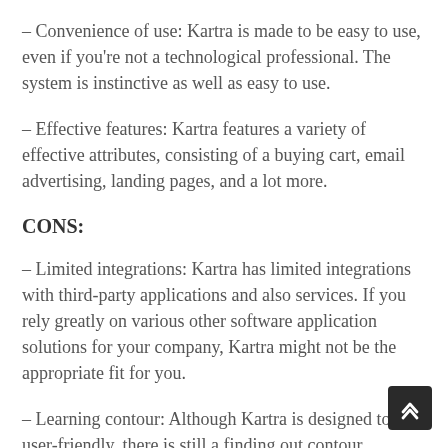– Convenience of use: Kartra is made to be easy to use, even if you're not a technological professional. The system is instinctive as well as easy to use.
– Effective features: Kartra features a variety of effective attributes, consisting of a buying cart, email advertising, landing pages, and a lot more.
CONS:
– Limited integrations: Kartra has limited integrations with third-party applications and also services. If you rely greatly on various other software application solutions for your company, Kartra might not be the appropriate fit for you.
– Learning contour: Although Kartra is designed to be user-friendly, there is still a finding out contour involved in using the system. It may spend some